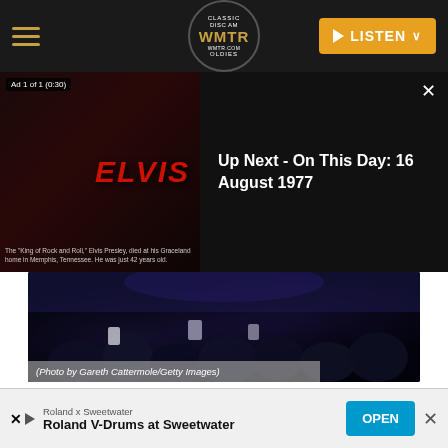Classic Oldies WMTR | LISTEN
[Figure (screenshot): Ad overlay showing Elvis Presley promotional image with text 'ELVIS' in red, ad label 'Ad 1 of 1 (0:30)']
[Figure (screenshot): Up Next panel with text 'Up Next - On This Day: 16 August 1977' on dark background with close X button]
[Figure (photo): Concert crowd photo taken from behind, dark blue tones, people holding up phones]
(Photo by Gareth Cattermole/Getty Images)
74. Chris Martin – “Shelter From The Storm” – from ‘Saturday Night Live’ April 11, 2020
[Figure (screenshot): Bottom advertisement banner: Roland x Sweetwater - Roland V-Drums at Sweetwater with OPEN button]